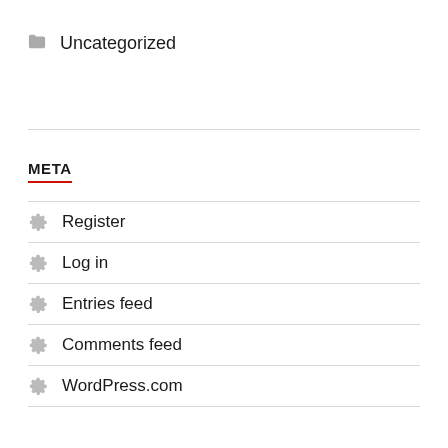Uncategorized
META
Register
Log in
Entries feed
Comments feed
WordPress.com